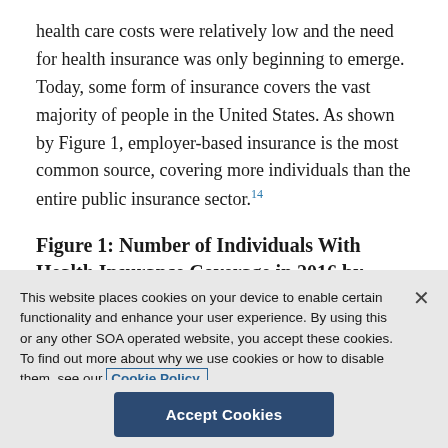health care costs were relatively low and the need for health insurance was only beginning to emerge. Today, some form of insurance covers the vast majority of people in the United States. As shown by Figure 1, employer-based insurance is the most common source, covering more individuals than the entire public insurance sector.14
Figure 1: Number of Individuals With Health Insurance Coverage in 2016 by Source*
This website places cookies on your device to enable certain functionality and enhance your user experience. By using this or any other SOA operated website, you accept these cookies. To find out more about why we use cookies or how to disable them, see our Cookie Policy.